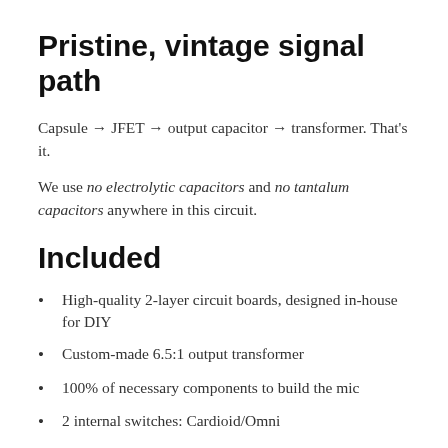Pristine, vintage signal path
Capsule → JFET → output capacitor → transformer. That's it.
We use no electrolytic capacitors and no tantalum capacitors anywhere in this circuit.
Included
High-quality 2-layer circuit boards, designed in-house for DIY
Custom-made 6.5:1 output transformer
100% of necessary components to build the mic
2 internal switches: Cardioid/Omni